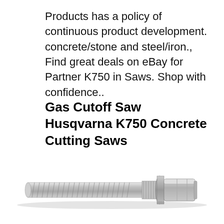Products has a policy of continuous product development. concrete/stone and steel/iron., Find great deals on eBay for Partner K750 in Saws. Shop with confidence..
Gas Cutoff Saw Husqvarna K750 Concrete Cutting Saws
[Figure (photo): A silver/chrome hex flange bolt with threaded shank, photographed diagonally on a white background.]